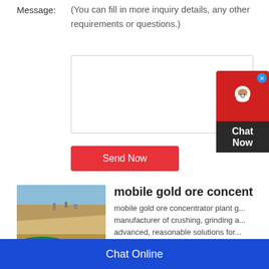Message:
(You can fill in more inquiry details, any other requirements or questions.)
[Figure (screenshot): Empty textarea input box for message entry]
Send Now
[Figure (infographic): Chat Now widget with red top section showing chat icon and X close button, dark bottom section with Chat Now text]
[Figure (photo): Aerial photo of an open-pit mining site with sandy terrain and green water pool]
mobile gold ore concentrat
mobile gold ore concentrator plant g... manufacturer of crushing, grinding a... advanced, reasonable solutions for... including quarry, aggregate, and dif...
Chat Online